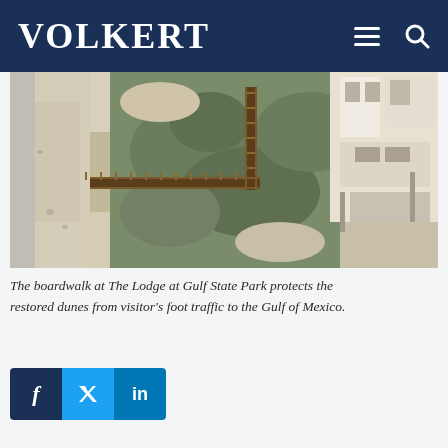VOLKERT
[Figure (photo): Aerial view of a boardwalk at The Lodge at Gulf State Park, showing wooden walkway traversing sand dunes with coastal vegetation, leading toward the Gulf of Mexico. Buildings visible in the upper right corner.]
The boardwalk at The Lodge at Gulf State Park protects the restored dunes from visitor's foot traffic to the Gulf of Mexico.